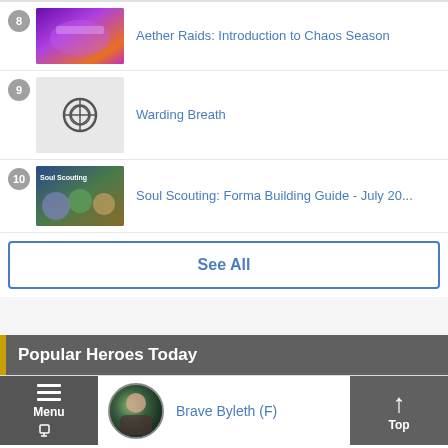8 Aether Raids: Introduction to Chaos Season
9 Warding Breath
10 Soul Scouting: Forma Building Guide - July 20...
See All
Popular Heroes Today
Brave Byleth (F)